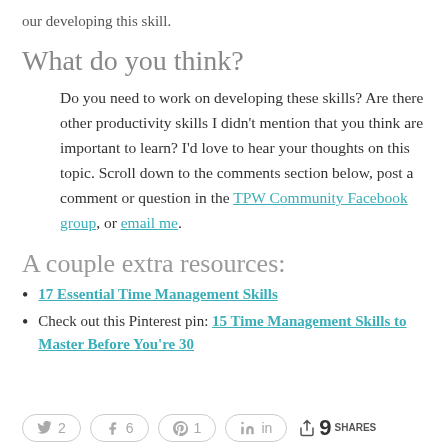our developing this skill.
What do you think?
Do you need to work on developing these skills? Are there other productivity skills I didn't mention that you think are important to learn? I'd love to hear your thoughts on this topic. Scroll down to the comments section below, post a comment or question in the TPW Community Facebook group, or email me.
A couple extra resources:
17 Essential Time Management Skills
Check out this Pinterest pin: 15 Time Management Skills to Master Before You're 30